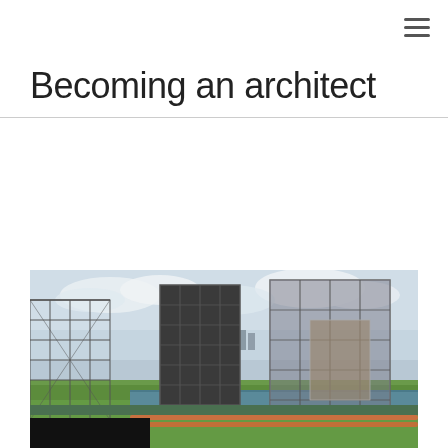≡
Becoming an architect
[Figure (photo): Construction site photograph showing large steel scaffolding and building frames under construction, with green fields, pipelines, and a city skyline visible in the background under a cloudy sky.]